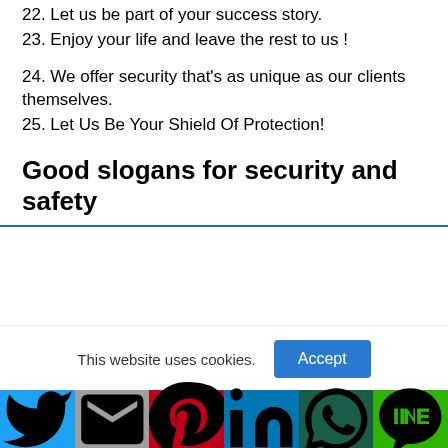22. Let us be part of your success story.
23. Enjoy your life and leave the rest to us !
24. We offer security that's as unique as our clients themselves.
25. Let Us Be Your Shield Of Protection!
Good slogans for security and safety
This website uses cookies.
Social share bar: Twitter, Gmail, Pinterest, LinkedIn, WhatsApp, Line